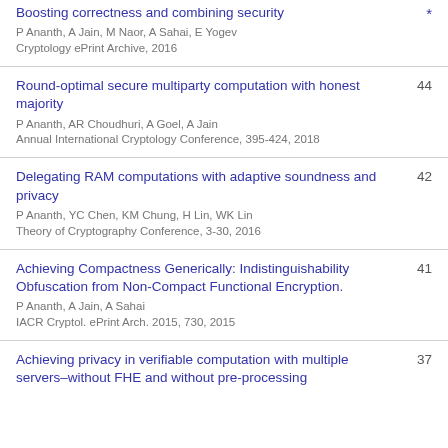Boosting correctness and combining security
P Ananth, A Jain, M Naor, A Sahai, E Yogev
Cryptology ePrint Archive, 2016
*
Round-optimal secure multiparty computation with honest majority
P Ananth, AR Choudhuri, A Goel, A Jain
Annual International Cryptology Conference, 395-424, 2018
44
Delegating RAM computations with adaptive soundness and privacy
P Ananth, YC Chen, KM Chung, H Lin, WK Lin
Theory of Cryptography Conference, 3-30, 2016
42
Achieving Compactness Generically: Indistinguishability Obfuscation from Non-Compact Functional Encryption.
P Ananth, A Jain, A Sahai
IACR Cryptol. ePrint Arch. 2015, 730, 2015
41
Achieving privacy in verifiable computation with multiple servers–without FHE and without pre-processing
37